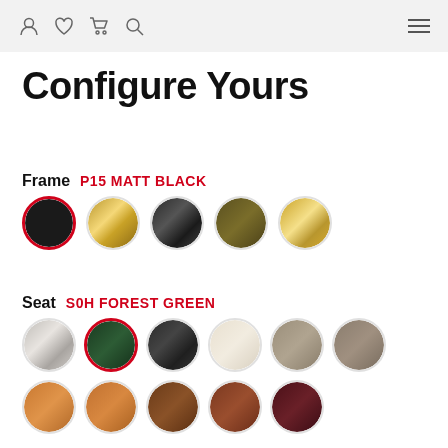navigation icons: user, heart, cart, search, hamburger menu
Configure Yours
Frame  P15 MATT BLACK
[Figure (illustration): Five circular color swatches for frame options: matt black (selected with red border), gold/brass, glossy black, olive/dark brass, bright gold. First swatch has red selection ring.]
Seat  S0H FOREST GREEN
[Figure (illustration): Eleven circular color swatches for seat options in two rows. Row 1: silver/grey, forest green (selected with red border), dark charcoal, cream/ivory, taupe, mocha. Row 2: caramel, tan/cognac, brown, chestnut, burgundy.]